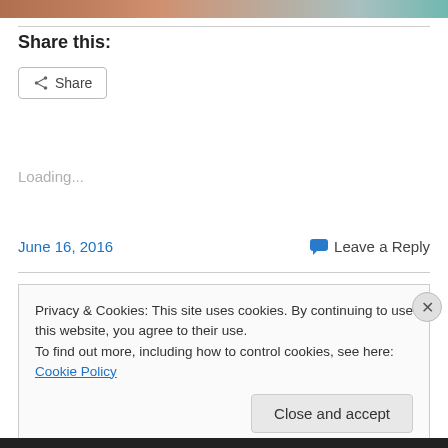[Figure (photo): Colorful image strip at the top of the page]
Share this:
[Figure (other): Share button with share icon]
Loading...
June 16, 2016    Leave a Reply
Privacy & Cookies: This site uses cookies. By continuing to use this website, you agree to their use.
To find out more, including how to control cookies, see here: Cookie Policy
Close and accept